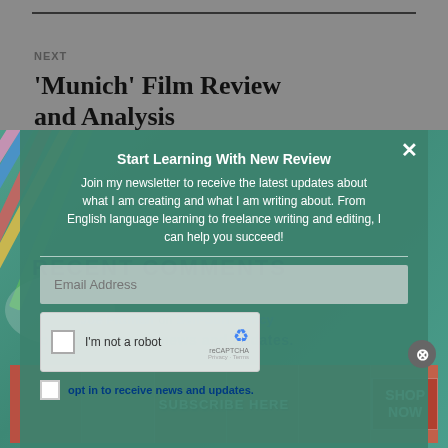NEXT
'Munich' Film Review and Analysis
RECENT COMMENTS
Joe Pittman on Self-Sufficiency
opt in to receive news and updates.
Advertisements
[Figure (screenshot): Newsletter modal overlay on teal/green background with pencils image. Modal contains title 'Start Learning With New Review', body text about newsletter, email address input field, reCAPTCHA widget, and opt-in checkbox. Close button (x) at top right.]
[Figure (infographic): Advertisement banner with coral/red background showing lips imagery and 'SUBSCRIBE HERE' text with 'SHOP NOW' button on right.]